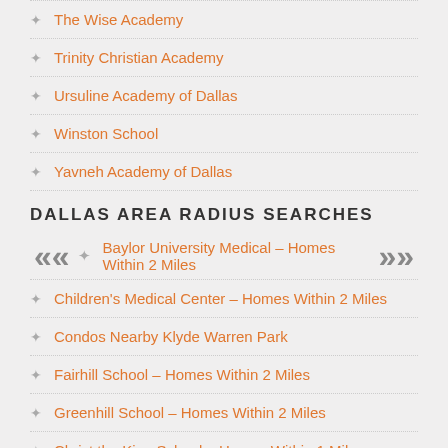The Wise Academy
Trinity Christian Academy
Ursuline Academy of Dallas
Winston School
Yavneh Academy of Dallas
DALLAS AREA RADIUS SEARCHES
Baylor University Medical – Homes Within 2 Miles
Children's Medical Center – Homes Within 2 Miles
Condos Nearby Klyde Warren Park
Fairhill School – Homes Within 2 Miles
Greenhill School – Homes Within 2 Miles
Christ the King School – Homes Within 1 Mile
Dallas International School – Homes Within 1 Mile